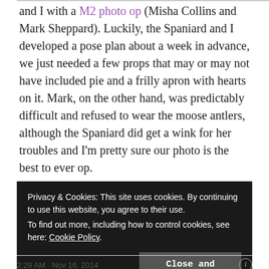and I with a M2 photo op (Misha Collins and Mark Sheppard). Luckily, the Spaniard and I developed a pose plan about a week in advance, we just needed a few props that may or may not have included pie and a frilly apron with hearts on it. Mark, on the other hand, was predictably difficult and refused to wear the moose antlers, although the Spaniard did get a wink for her troubles and I'm pretty sure our photo is the best to ever op.
3) Misha Collins
Privacy & Cookies: This site uses cookies. By continuing to use this website, you agree to their use.
To find out more, including how to control cookies, see here: Cookie Policy
Close and accept
2:29 AM · Nov 16, 2014